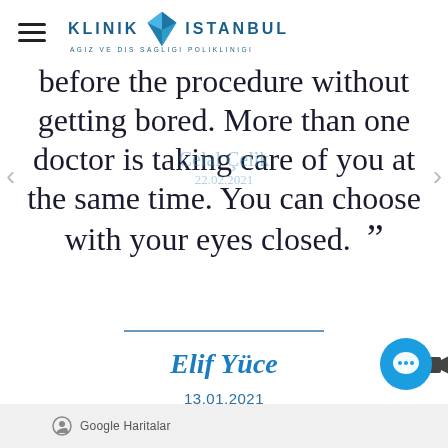KLINIK ISTANBUL - AGIZ VE DIS SAGLIGI POLIKLINIGI
before the procedure without getting bored. More than one doctor is taking care of you at the same time. You can choose with your eyes closed. ”
Elif Yüce
13.01.2021